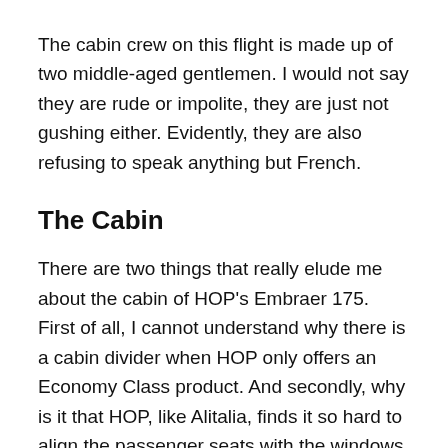The cabin crew on this flight is made up of two middle-aged gentlemen. I would not say they are rude or impolite, they are just not gushing either. Evidently, they are also refusing to speak anything but French.
The Cabin
There are two things that really elude me about the cabin of HOP's Embraer 175. First of all, I cannot understand why there is a cabin divider when HOP only offers an Economy Class product. And secondly, why is it that HOP, like Alitalia, finds it so hard to align the passenger seats with the windows of the aircraft? On most rows the windows are rather inconveniently